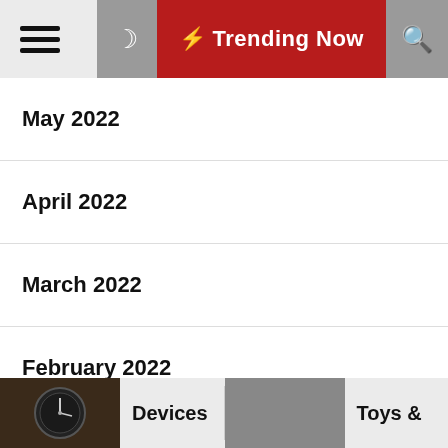☰ 🌙 ⚡ Trending Now 🔍
May 2022
April 2022
March 2022
February 2022
January 2022
December 2021
November 2021
Devices   Toys &